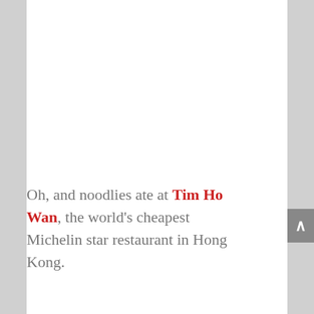Oh, and noodlies ate at Tim Ho Wan, the world's cheapest Michelin star restaurant in Hong Kong.